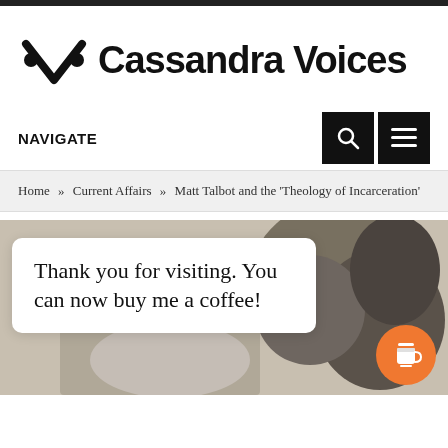[Figure (logo): Cassandra Voices website logo with stylized V icon and site name]
NAVIGATE
Home » Current Affairs » Matt Talbot and the 'Theology of Incarceration'
[Figure (photo): Black and white photo of a stone sculpture, partially visible. A white popup box overlays the image with text: 'Thank you for visiting. You can now buy me a coffee!' An orange circular coffee cup button appears in the lower right.]
Thank you for visiting. You can now buy me a coffee!